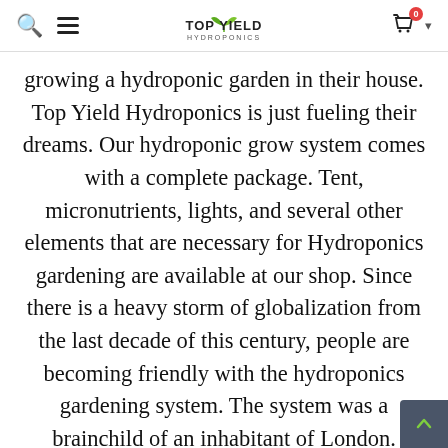Top Yield Hydroponics — navigation header with search, menu, logo, cart
growing a hydroponic garden in their house. Top Yield Hydroponics is just fueling their dreams. Our hydroponic grow system comes with a complete package. Tent, micronutrients, lights, and several other elements that are necessary for Hydroponics gardening are available at our shop. Since there is a heavy storm of globalization from the last decade of this century, people are becoming friendly with the hydroponics gardening system. The system was a brainchild of an inhabitant of London. Nowadays, this garden system has spre